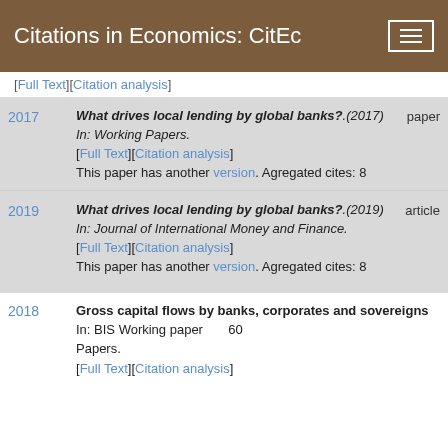Citations in Economics: CitEc
[Full Text][Citation analysis]
2017 — What drives local lending by global banks?.(2017) In: Working Papers. [Full Text][Citation analysis] This paper has another version. Agregated cites: 8 — paper
2019 — What drives local lending by global banks?.(2019) In: Journal of International Money and Finance. [Full Text][Citation analysis] This paper has another version. Agregated cites: 8 — article
2018 — Gross capital flows by banks, corporates and sovereigns In: BIS Working Papers. [Full Text][Citation analysis] 60